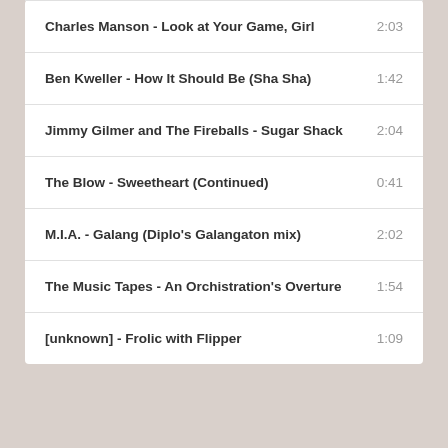Charles Manson - Look at Your Game, Girl  2:03
Ben Kweller - How It Should Be (Sha Sha)  1:42
Jimmy Gilmer and The Fireballs - Sugar Shack  2:04
The Blow - Sweetheart (Continued)  0:41
M.I.A. - Galang (Diplo's Galangaton mix)  2:02
The Music Tapes - An Orchistration's Overture  1:54
[unknown] - Frolic with Flipper  1:09